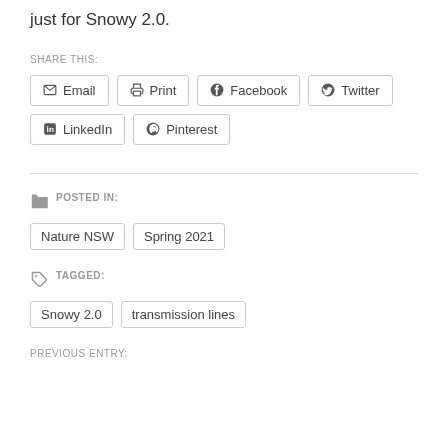just for Snowy 2.0.
SHARE THIS:
Email  Print  Facebook  Twitter  LinkedIn  Pinterest
POSTED IN:
Nature NSW  Spring 2021
TAGGED:
Snowy 2.0  transmission lines
PREVIOUS ENTRY: